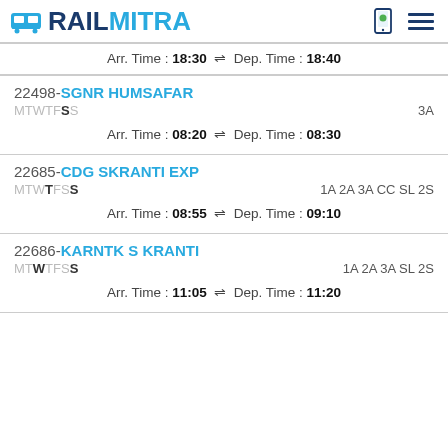RAILMITRA
Arr. Time : 18:30  Dep. Time : 18:40
22498-SGNR HUMSAFAR MTWTFSS 3A Arr. Time : 08:20  Dep. Time : 08:30
22685-CDG SKRANTI EXP MTWTFSS 1A 2A 3A CC SL 2S Arr. Time : 08:55  Dep. Time : 09:10
22686-KARNTK S KRANTI MTWTFSS 1A 2A 3A SL 2S Arr. Time : 11:05  Dep. Time : 11:20